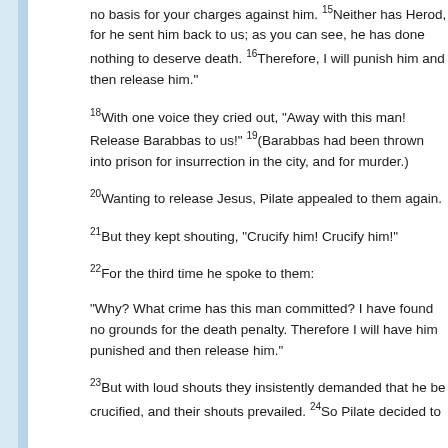no basis for your charges against him. 15Neither has Herod, for he sent him back to us; as you can see, he has done nothing to deserve death. 16Therefore, I will punish him and then release him."
18With one voice they cried out, "Away with this man! Release Barabbas to us!" 19(Barabbas had been thrown into prison for insurrection in the city, and for murder.)
20Wanting to release Jesus, Pilate appealed to them again.
21But they kept shouting, "Crucify him! Crucify him!"
22For the third time he spoke to them:
"Why? What crime has this man committed? I have found in no grounds for the death penalty. Therefore I will have him punished and then release him."
23But with loud shouts they insistently demanded that he be crucified, and their shouts prevailed. 24So Pilate decided to